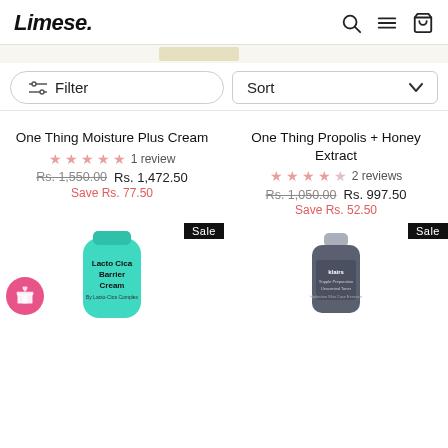Limese.
Filter
Sort
One Thing Moisture Plus Cream
★★★★★ 1 review
Rs. 1,550.00 Rs. 1,472.50
Save Rs. 77.50
One Thing Propolis + Honey Extract
★★★★★ 2 reviews
Rs. 1,050.00 Rs. 997.50
Save Rs. 52.50
[Figure (screenshot): Lacto Cica Barrier Cream product tube with teal/mint color packaging, Sale badge, and pink gift button overlay]
[Figure (screenshot): Dark blue/gray toner bottle (Klairs brand), Sale badge, partially visible]